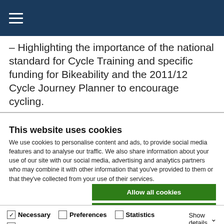– Highlighting the importance of the national standard for Cycle Training and specific funding for Bikeability and the 2011/12 Cycle Journey Planner to encourage cycling.
This website uses cookies
We use cookies to personalise content and ads, to provide social media features and to analyse our traffic. We also share information about your use of our site with our social media, advertising and analytics partners who may combine it with other information that you've provided to them or that they've collected from your use of their services.
Allow all cookies | Allow selection | Use necessary cookies only
Necessary  Preferences  Statistics  Marketing  Show details